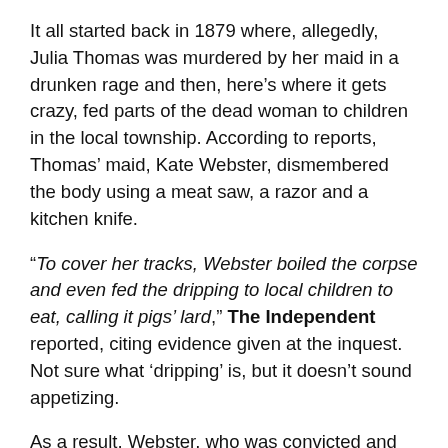It all started back in 1879 where, allegedly, Julia Thomas was murdered by her maid in a drunken rage and then, here's where it gets crazy, fed parts of the dead woman to children in the local township. According to reports, Thomas' maid, Kate Webster, dismembered the body using a meat saw, a razor and a kitchen knife.
“To cover her tracks, Webster boiled the corpse and even fed the dripping to local children to eat, calling it pigs’ lard,” The Independent reported, citing evidence given at the inquest. Not sure what ‘dripping’ is, but it doesn’t sound appetizing.
As a result, Webster, who was convicted and subsequently hung in 1879, put most of the remains into a box, but the head and a foot did not fit, so she buried them in two different gardens, of which Attenborough’s happened to be one of them.
Fast forward to late last year where the story unfolds innocently enough with excavators digging in